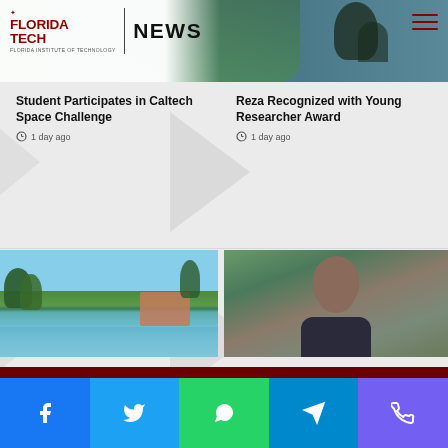FLORIDA TECH NEWS
Student Participates in Caltech Space Challenge
1 day ago
Reza Recognized with Young Researcher Award
1 day ago
[Figure (photo): Campus aerial view with lake and buildings surrounded by trees]
[Figure (photo): Portrait of Joaquin Zamarripa smiling outdoors]
Spring 2022 Alumnotes
4 days ago
Joaquin Zamarripa Named July MVP
4 days ago